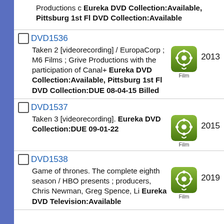Productions c Eureka DVD Collection:Available, Pittsburg 1st Fl DVD Collection:Available
DVD1536 — Taken 2 [videorecording] / EuropaCorp ; M6 Films ; Grive Productions with the participation of Canal+ Eureka DVD Collection:Available, Pittsburg 1st Fl DVD Collection:DUE 08-04-15 Billed — 2013
DVD1537 — Taken 3 [videorecording]. Eureka DVD Collection:DUE 09-01-22 — 2015
DVD1538 — Game of thrones. The complete eighth season / HBO presents ; producers, Chris Newman, Greg Spence, Li Eureka DVD Television:Available — 2019